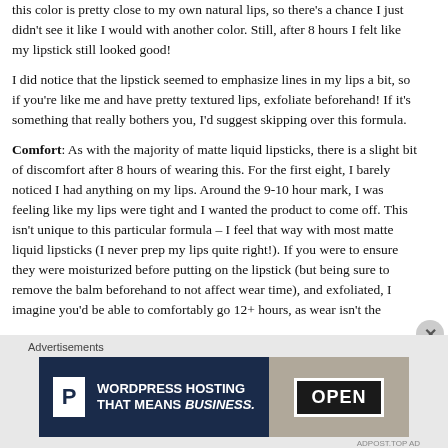this color is pretty close to my own natural lips, so there's a chance I just didn't see it like I would with another color. Still, after 8 hours I felt like my lipstick still looked good!
I did notice that the lipstick seemed to emphasize lines in my lips a bit, so if you're like me and have pretty textured lips, exfoliate beforehand! If it's something that really bothers you, I'd suggest skipping over this formula.
Comfort: As with the majority of matte liquid lipsticks, there is a slight bit of discomfort after 8 hours of wearing this. For the first eight, I barely noticed I had anything on my lips. Around the 9-10 hour mark, I was feeling like my lips were tight and I wanted the product to come off. This isn't unique to this particular formula – I feel that way with most matte liquid lipsticks (I never prep my lips quite right!). If you were to ensure they were moisturized before putting on the lipstick (but being sure to remove the balm beforehand to not affect wear time), and exfoliated, I imagine you'd be able to comfortably go 12+ hours, as wear isn't the
Advertisements
[Figure (infographic): WordPress Hosting That Means Business advertisement banner with P logo on dark blue background and OPEN sign photo on right]